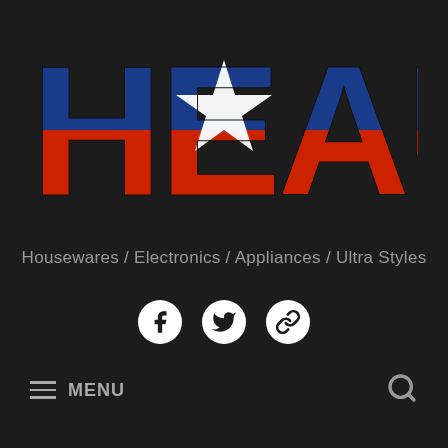[Figure (logo): HEAUS logo with Texas flag motif — large bold letters H, E, A, U, S where the top stripe is blue, bottom stripe is red, and a white star overlays the A letter in the center]
Housewares / Electronics / Appliances / Ultra Styles
[Figure (infographic): Three social media icons: Facebook circle logo, Twitter bird logo, and a chain link/share icon, all white on dark circular backgrounds]
≡ MENU
[Figure (infographic): Search magnifying glass icon on the right side of the menu bar]